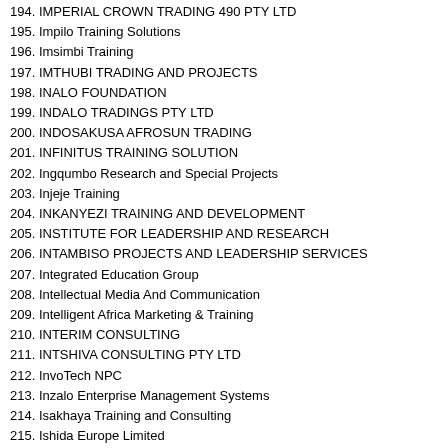194. IMPERIAL CROWN TRADING 490 PTY LTD
195. Impilo Training Solutions
196. Imsimbi Training
197. IMTHUBI TRADING AND PROJECTS
198. INALO FOUNDATION
199. INDALO TRADINGS PTY LTD
200. INDOSAKUSA AFROSUN TRADING
201. INFINITUS TRAINING SOLUTION
202. Ingqumbo Research and Special Projects
203. Injeje Training
204. INKANYEZI TRAINING AND DEVELOPMENT
205. INSTITUTE FOR LEADERSHIP AND RESEARCH
206. INTAMBISO PROJECTS AND LEADERSHIP SERVICES
207. Integrated Education Group
208. Intellectual Media And Communication
209. Intelligent Africa Marketing & Training
210. INTERIM CONSULTING
211. INTSHIVA CONSULTING PTY LTD
212. InvoTech NPC
213. Inzalo Enterprise Management Systems
214. Isakhaya Training and Consulting
215. Ishida Europe Limited
216. ISIKOLO School of Learning
217. ISISEKELO TRAINING SOLUTIONS PTY LTD
218. ITUMELENG WELLNESS SOLUTIONS
219. Izipho Zomphakathi Multiskills
220. JARANA BV CONSULTING AGENCY CC